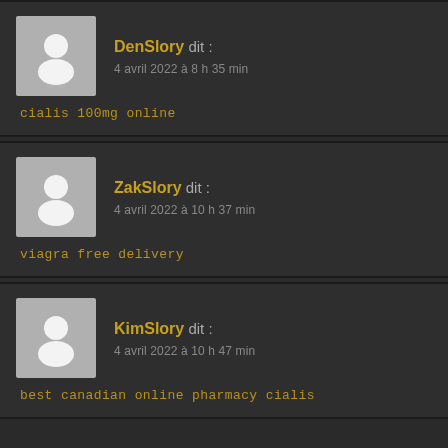DenSlory dit : 4 avril 2022 à 8 h 35 min
cialis 100mg online
ZakSlory dit : 4 avril 2022 à 10 h 37 min
viagra free delivery
KimSlory dit : 4 avril 2022 à 10 h 47 min
best canadian online pharmacy cialis